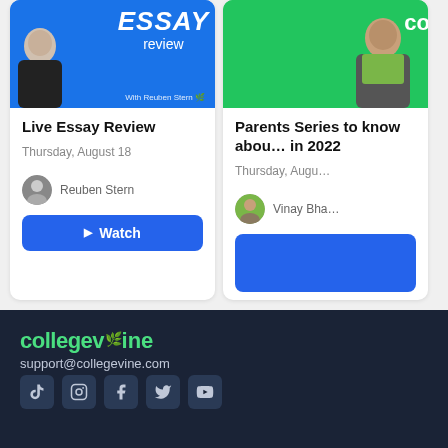[Figure (photo): Blue banner image for Live Essay Review event with Reuben Stern, showing person in black outfit and large text 'ESSAY review']
Live Essay Review
Thursday, August 18
Reuben Stern
[Figure (photo): Green banner image for Parents Series event with Vinay Bha, partially visible]
Parents Series to know about in 2022
Thursday, Augu
Vinay Bha
collegevine
support@collegevine.com